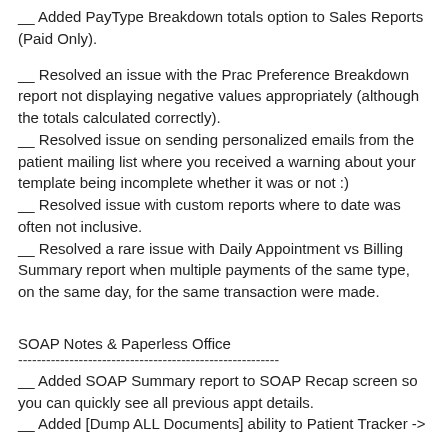__ Added PayType Breakdown totals option to Sales Reports (Paid Only).
__ Resolved an issue with the Prac Preference Breakdown report not displaying negative values appropriately (although the totals calculated correctly).
__ Resolved issue on sending personalized emails from the patient mailing list where you received a warning about your template being incomplete whether it was or not :)
__ Resolved issue with custom reports where to date was often not inclusive.
__ Resolved a rare issue with Daily Appointment vs Billing Summary report when multiple payments of the same type, on the same day, for the same transaction were made.
SOAP Notes & Paperless Office
--------------------------------------------------------
__ Added SOAP Summary report to SOAP Recap screen so you can quickly see all previous appt details.
__ Added [Dump ALL Documents] ability to Patient Tracker ->